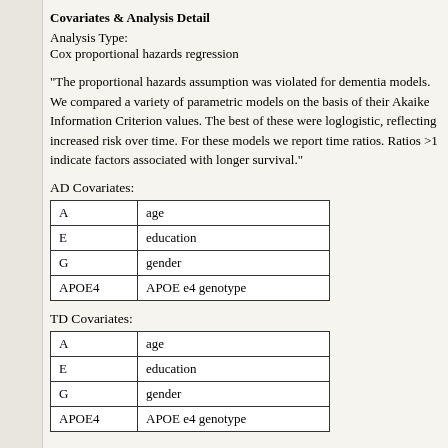Covariates & Analysis Detail
Analysis Type:
Cox proportional hazards regression
"The proportional hazards assumption was violated for dementia models. We compared a variety of parametric models on the basis of their Akaike Information Criterion values. The best of these were loglogistic, reflecting increased risk over time. For these models we report time ratios. Ratios >1 indicate factors associated with longer survival."
AD Covariates:
| A | age |
| E | education |
| G | gender |
| APOE4 | APOE e4 genotype |
TD Covariates:
| A | age |
| E | education |
| G | gender |
| APOE4 | APOE e4 genotype |